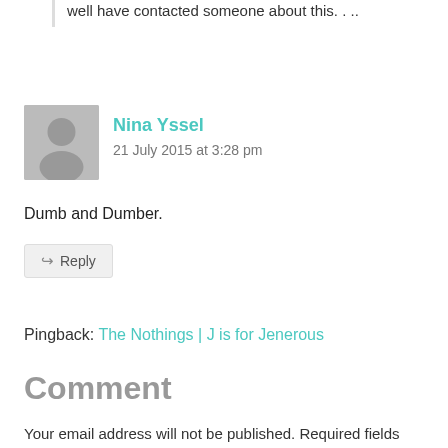well have contacted someone about this. . ..
Nina Yssel
21 July 2015 at 3:28 pm
Dumb and Dumber.
Reply
Pingback: The Nothings | J is for Jenerous
Comment
Your email address will not be published. Required fields